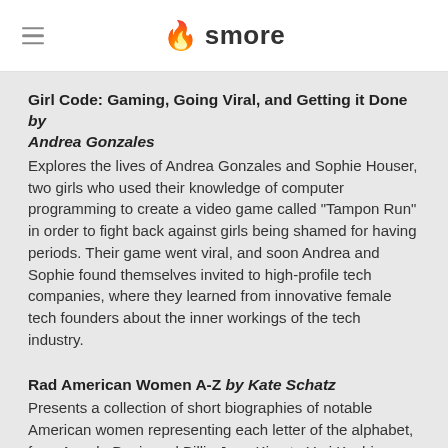smore
Girl Code: Gaming, Going Viral, and Getting it Done by Andrea Gonzales
Explores the lives of Andrea Gonzales and Sophie Houser, two girls who used their knowledge of computer programming to create a video game called "Tampon Run" in order to fight back against girls being shamed for having periods. Their game went viral, and soon Andrea and Sophie found themselves invited to high-profile tech companies, where they learned from innovative female tech founders about the inner workings of the tech industry.
Rad American Women A-Z by Kate Schatz
Presents a collection of short biographies of notable American women representing each letter of the alphabet, from Angela Davis and Billie Jean King to Yuri Kochiyama